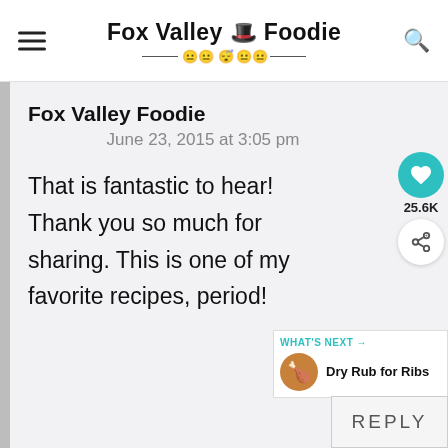Fox Valley Foodie
Fox Valley Foodie
June 23, 2015 at 3:05 pm
That is fantastic to hear! Thank you so much for sharing. This is one of my favorite recipes, period!
25.6K
WHAT'S NEXT → Dry Rub for Ribs
REPLY